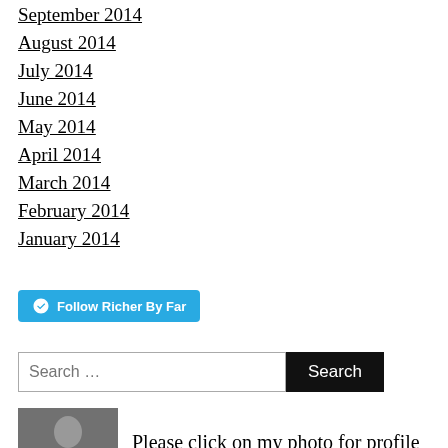September 2014
August 2014
July 2014
June 2014
May 2014
April 2014
March 2014
February 2014
January 2014
[Figure (other): WordPress Follow button: Follow Richer By Far]
[Figure (other): Search bar with text 'Search ...' and a Search button]
[Figure (photo): Profile photo thumbnail of a person]
Please click on my photo for profile